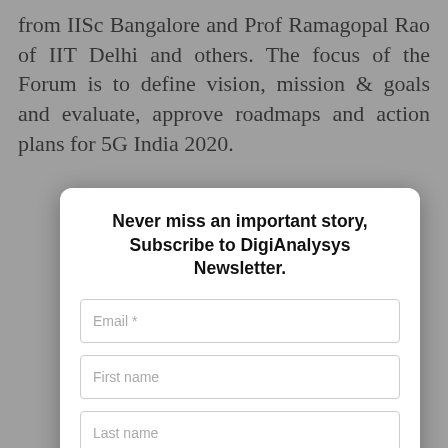from IISc Bangalore and Prof Ramagopal Rao of IIT Delhi and others. The focus of the Forum is to define vision, mission & goals and evaluate, approve roadmaps and action plans for 5G India 2020.
[Figure (screenshot): Newsletter subscription modal overlay with title 'Never miss an important story, Subscribe to DigiAnalysys Newsletter.' containing Email, First name, Last name fields and a Subscribe button, with a close (x) button at the bottom right.]